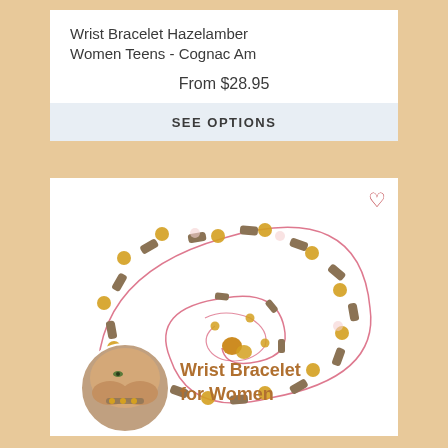Wrist Bracelet Hazelamber Women Teens - Cognac Am
From $28.95
SEE OPTIONS
[Figure (photo): Photo of amber and hazel bead necklace/bracelet coiled on white background, with inset circle photo of woman wearing a bracelet. Text overlay: Wrist Bracelet for Women]
Wrist Bracelet for Women